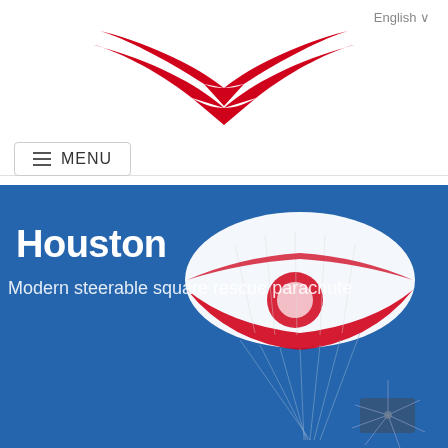[Figure (logo): Red stylized bird/wing logo mark — two curved chevron shapes in red forming a symmetrical wing/bird silhouette]
English ∨
≡ MENU
Houston
Modern steerable square rescue parachute
[Figure (photo): A white and red steerable square rescue parachute deployed in blue sky, with suspension lines visible below, and part of a paramotor/ultralight craft in the lower right corner]